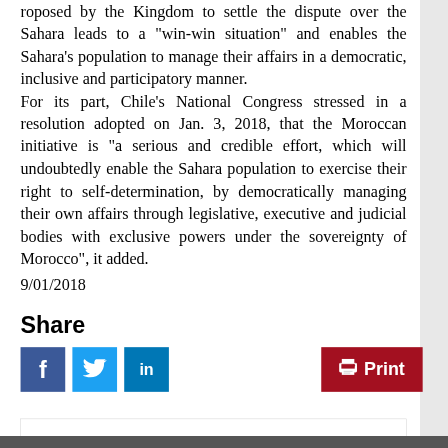roposed by the Kingdom to settle the dispute over the Sahara leads to a "win-win situation" and enables the Sahara's population to manage their affairs in a democratic, inclusive and participatory manner. For its part, Chile's National Congress stressed in a resolution adopted on Jan. 3, 2018, that the Moroccan initiative is "a serious and credible effort, which will undoubtedly enable the Sahara population to exercise their right to self-determination, by democratically managing their own affairs through legislative, executive and judicial bodies with exclusive powers under the sovereignty of Morocco", it added.
9/01/2018
Share
[Figure (other): Social sharing buttons: Facebook, Twitter, LinkedIn, and a Print button]
[Figure (other): Map of Morocco placeholder section with title text 'Map of Morocco']